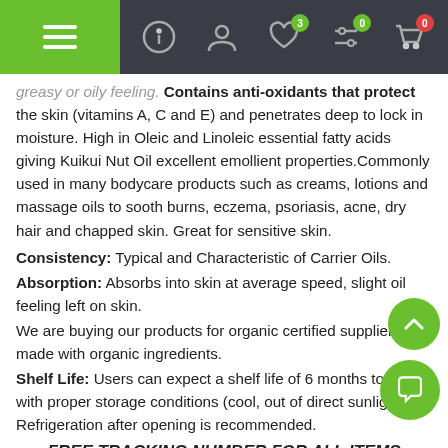Navigation bar with menu, info, account, wishlist (0), filter (0), cart (0) icons
greasy or oily feeling. Contains anti-oxidants that protect the skin (vitamins A, C and E) and penetrates deep to lock in moisture. High in Oleic and Linoleic essential fatty acids giving Kuikui Nut Oil excellent emollient properties. Commonly used in many bodycare products such as creams, lotions and massage oils to sooth burns, eczema, psoriasis, acne, dry hair and chapped skin. Great for sensitive skin.
Consistency: Typical and Characteristic of Carrier Oils.
Absorption: Absorbs into skin at average speed, slight oil feeling left on skin.
We are buying our products for organic certified supplier, made with organic ingredients.
Shelf Life: Users can expect a shelf life of 6 months to 1 year with proper storage conditions (cool, out of direct sunlight). Refrigeration after opening is recommended.
FREE TRACKING NUMBER FOR ALL ITEMS
Your item(s) will be shipped the same business day or next business day of confirmation of payment if received by 3:00 pm PST. (not including weekends or holidays).